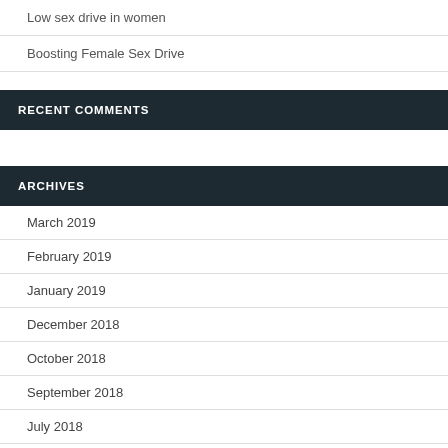Low sex drive in women
Boosting Female Sex Drive
RECENT COMMENTS
ARCHIVES
March 2019
February 2019
January 2019
December 2018
October 2018
September 2018
July 2018